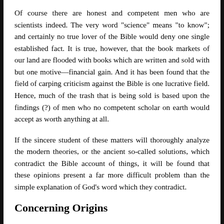Of course there are honest and competent men who are scientists indeed. The very word "science" means "to know"; and certainly no true lover of the Bible would deny one single established fact. It is true, however, that the book markets of our land are flooded with books which are written and sold with but one motive—financial gain. And it has been found that the field of carping criticism against the Bible is one lucrative field. Hence, much of the trash that is being sold is based upon the findings (?) of men who no competent scholar on earth would accept as worth anything at all.
If the sincere student of these matters will thoroughly analyze the modern theories, or the ancient so-called solutions, which contradict the Bible account of things, it will be found that these opinions present a far more difficult problem than the simple explanation of God's word which they contradict.
Concerning Origins